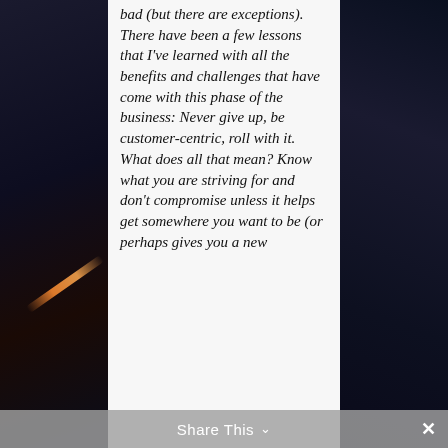[Figure (illustration): Dark space/sci-fi background with orange light streak on left side and metallic chain-like elements on right side, with a white central panel containing text]
bad (but there are exceptions). There have been a few lessons that I've learned with all the benefits and challenges that have come with this phase of the business: Never give up, be customer-centric, roll with it. What does all that mean? Know what you are striving for and don't compromise unless it helps get somewhere you want to be (or perhaps gives you a new
Share This ∨  ×